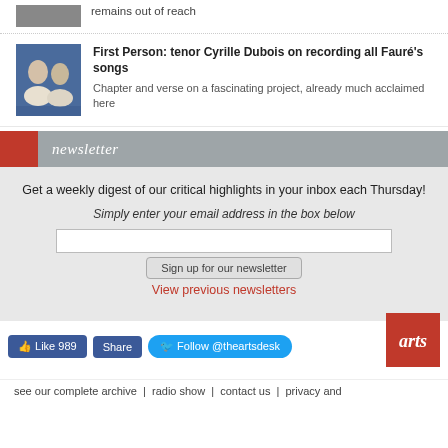remains out of reach
First Person: tenor Cyrille Dubois on recording all Fauré's songs
Chapter and verse on a fascinating project, already much acclaimed here
newsletter
Get a weekly digest of our critical highlights in your inbox each Thursday!
Simply enter your email address in the box below
Sign up for our newsletter
View previous newsletters
see our complete archive  |  radio show  |  contact us  |  privacy and